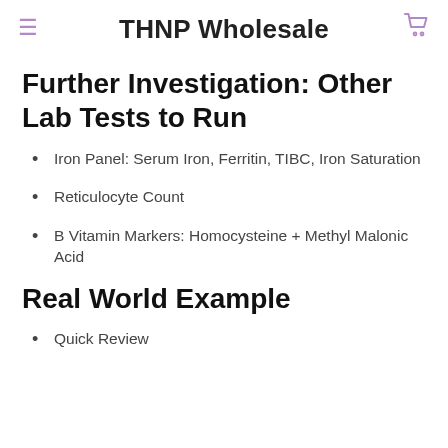THNP Wholesale
Further Investigation: Other Lab Tests to Run
Iron Panel: Serum Iron, Ferritin, TIBC, Iron Saturation
Reticulocyte Count
B Vitamin Markers: Homocysteine + Methyl Malonic Acid
Real World Example
Quick Review